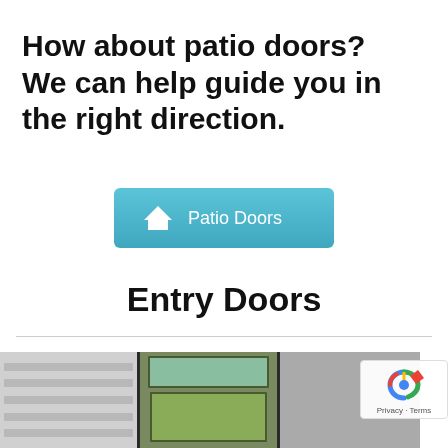How about patio doors?  We can help guide you in the right direction.
[Figure (infographic): A teal/blue button with a house icon and text 'Patio Doors']
Entry Doors
[Figure (photo): Photo of entry doors on a house, showing two olive-green doors with sidelights and a garage panel section]
Privacy · Terms